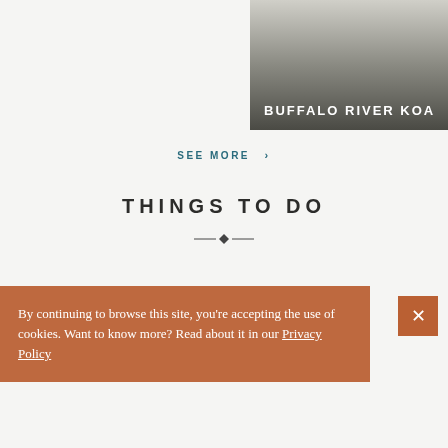[Figure (photo): Buffalo River KOA campground image with dark gradient overlay and white bold title text at bottom left]
SEE MORE >
THINGS TO DO
[Figure (photo): Festivals section card showing a motorcyclist on a dark warm-toned background with FESTIVALS label and heart icon, bottom text TENNESSEE MOTORCYCLES AND]
By continuing to browse this site, you're accepting the use of cookies. Want to know more? Read about it in our Privacy Policy